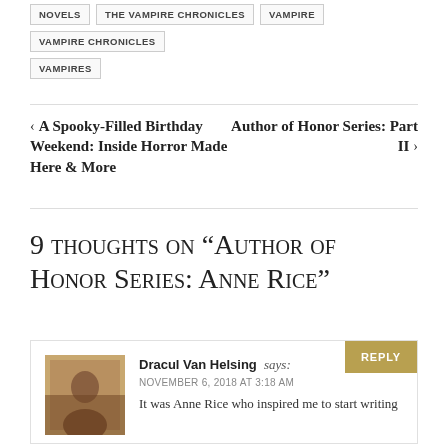NOVELS
THE VAMPIRE CHRONICLES
VAMPIRE
VAMPIRE CHRONICLES
VAMPIRES
< A Spooky-Filled Birthday Weekend: Inside Horror Made Here & More
Author of Honor Series: Part II >
9 thoughts on “Author of Honor Series: Anne Rice”
Dracul Van Helsing says:
NOVEMBER 6, 2018 AT 3:18 AM
It was Anne Rice who inspired me to start writing